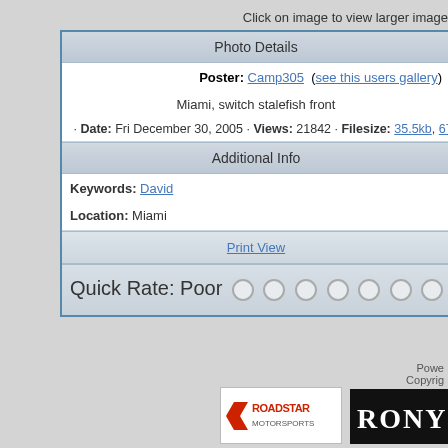Click on image to view larger image
Photo Details
Poster: Camp305 (see this users gallery)
Miami, switch stalefish front
· Date: Fri December 30, 2005 · Views: 21842 · Filesize: 35.5kb, 67.0kb · Di
Additional Info
Keywords: David
Location: Miami
Print View
Quick Rate: Poor ○ ○ ○ ○ ○ ○ ○ ○ ○
Powe
Copyrig
[Figure (logo): RoadStar logo]
[Figure (logo): RONY logo]